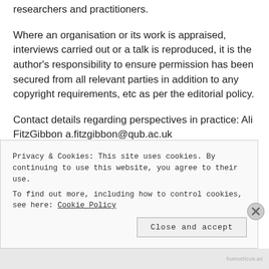researchers and practitioners.
Where an organisation or its work is appraised, interviews carried out or a talk is reproduced, it is the author’s responsibility to ensure permission has been secured from all relevant parties in addition to any copyright requirements, etc as per the editorial policy.
Contact details regarding perspectives in practice: Ali FitzGibbon a.fitzgibbon@qub.ac.uk
When submitting work, please ensure you review the Style Guidelines for the overall Journal.
Privacy & Cookies: This site uses cookies. By continuing to use this website, you agree to their use.
To find out more, including how to control cookies, see here: Cookie Policy
Close and accept
humorticus.ac